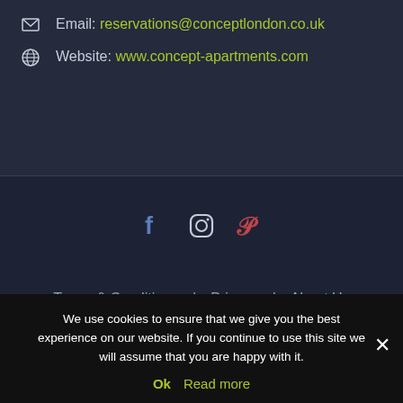Email: reservations@conceptlondon.co.uk
Website: www.concept-apartments.com
[Figure (infographic): Social media icons: Facebook (blue), Instagram (gray outline), Pinterest (red)]
Terms & Conditions | Privacy | About Us | Contact
We use cookies to ensure that we give you the best experience on our website. If you continue to use this site we will assume that you are happy with it.
Ok  Read more